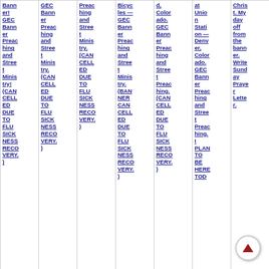Banner! GEC Banner Preaching and Street Ministry! (CANCELLED DUE TO FLU SICKNESS RECOVERY.)
GEC Banner Preaching and Street Ministry. (CANCELLED DUE TO FLU SICKNESS RECOVERY.)
Preaching and Street Ministry. (CANCELLED DUE TO FLU SICKNESS RECOVERY.)
Bicycles — GEC Banner Preaching and Street Ministry. (BANNER CANCELLED DUE TO FLU SICKNESS RECOVERY.)
d, Colorado. GEC Banner Preaching and Street Preaching. (CANCELLED DUE TO FLU SICKNESS RECOVERY.)
at Union Station — Denver, Colorado. GEC Banner Preaching and Street Preaching. I PLAN TO BE HERE TOD
Christ. My day off from the banner. Write Sunday Prayer Letter.